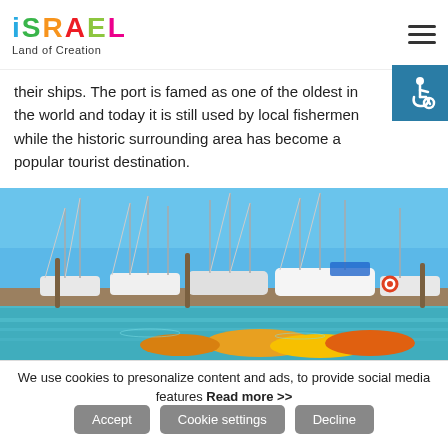ISRAEL Land of Creation
their ships. The port is famed as one of the oldest in the world and today it is still used by local fishermen while the historic surrounding area has become a popular tourist destination.
[Figure (photo): Colorful sailing boats and yachts moored at a marina harbor with clear blue water and blue sky, with orange rowboats in the foreground.]
We use cookies to presonalize content and ads, to provide social media features Read more >>
Accept | Cookie settings | Decline